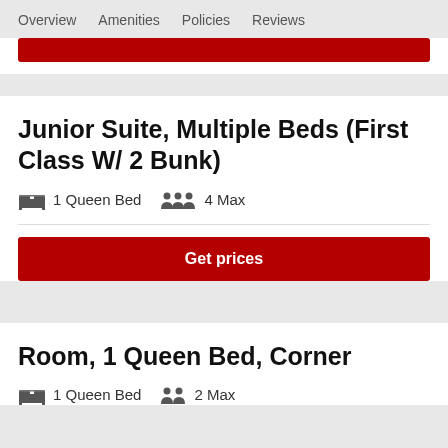Overview   Amenities   Policies   Reviews
Junior Suite, Multiple Beds (First Class W/ 2 Bunk)
1 Queen Bed   4 Max
Get prices
Room, 1 Queen Bed, Corner
1 Queen Bed   2 Max